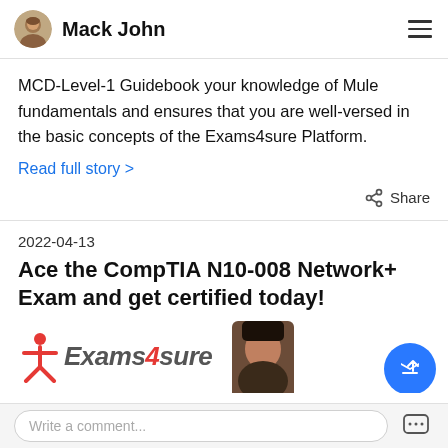Mack John
MCD-Level-1 Guidebook your knowledge of Mule fundamentals and ensures that you are well-versed in the basic concepts of the Exams4sure Platform.
Read full story >
Share
2022-04-13
Ace the CompTIA N10-008 Network+ Exam and get certified today!
[Figure (logo): Exams4sure logo with stick figure icon and italic text, partially cropped]
Write a comment...